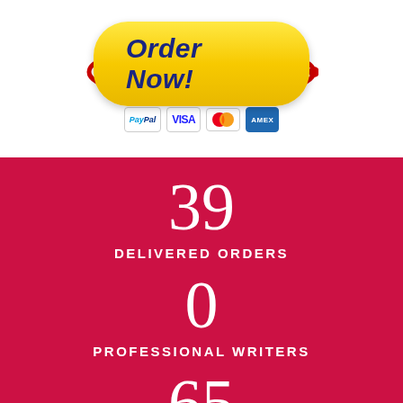[Figure (illustration): Yellow 'Order Now!' button with dark blue italic bold text, surrounded by a red orbit ellipse, with PayPal, VISA, Mastercard, and Amex payment icons below]
39
DELIVERED ORDERS
0
PROFESSIONAL WRITERS
65